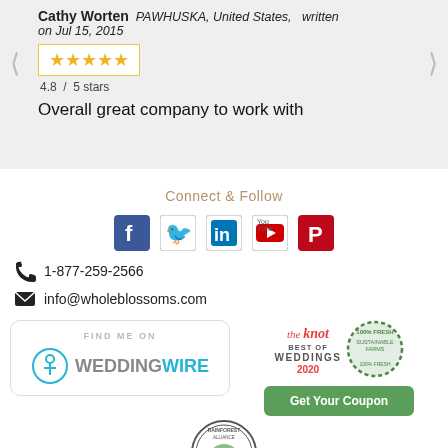Cathy Worten  PAWHUSKA, United States,  written on Jul 15, 2015
[Figure (infographic): Star rating display showing 5 gold stars in a box, with 4.8 / 5 stars text below]
Overall great company to work with
Connect & Follow
[Figure (infographic): Social media icons: Facebook, Twitter, LinkedIn, YouTube, Pinterest]
1-877-259-2566
info@wholeblossoms.com
[Figure (logo): WeddingWire logo with FIND ME ON text above]
[Figure (logo): The Knot Best of Weddings 2020 badge]
[Figure (logo): Rainforest Alliance certified logo with frog]
[Figure (infographic): Sustainable Farms badge]
Get Your Coupon